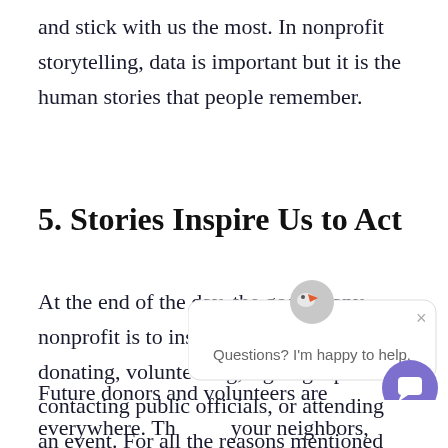and stick with us the most. In nonprofit storytelling, data is important but it is the human stories that people remember.
5. Stories Inspire Us to Act
At the end of the day, the goal of any nonprofit is to inspire people to act: donating, volunteering, signing a petition, contacting public officials, or attending an event. For all the reasons mentioned above, storytelling is an incredibly useful to[ol to help people] remember your cause, b[ecause...]
[Figure (screenshot): Chat widget overlay with a bird logo icon, close button (×), and text 'Questions? I'm happy to help.' and a purple circular chat button]
Future donors and volunteers are everywhere. Th[ey're] your neighbors, church members, and fellow par[ents at] your children's schools. They're people sitting at home